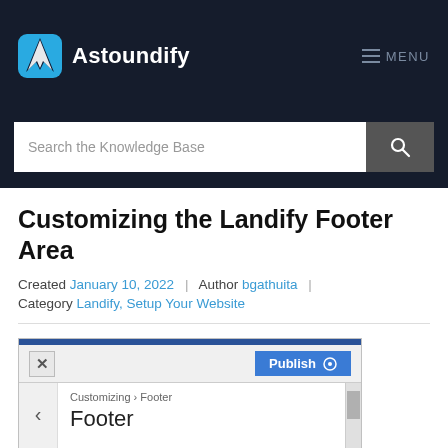Astoundify — MENU
Search the Knowledge Base
Customizing the Landify Footer Area
Created January 10, 2022 | Author bgathuita | Category Landify, Setup Your Website
[Figure (screenshot): WordPress Customizer screenshot showing the Footer panel. Top bar is blue, toolbar has X close button and a blue Publish button with gear icon. Below is a panel showing breadcrumb 'Customizing > Footer' and heading 'Footer' with a back arrow and scrollbar.]